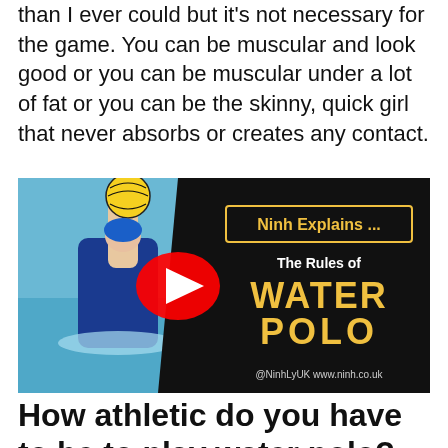than I ever could but it's not necessary for the game. You can be muscular and look good or you can be muscular under a lot of fat or you can be the skinny, quick girl that never absorbs or creates any contact.
[Figure (screenshot): YouTube video thumbnail for 'Ninh Explains ... The Rules of WATER POLO' showing a female water polo player holding a ball, with a YouTube play button overlay. Credits: @NinhLyUK www.ninh.co.uk]
How athletic do you have to be to play water polo?